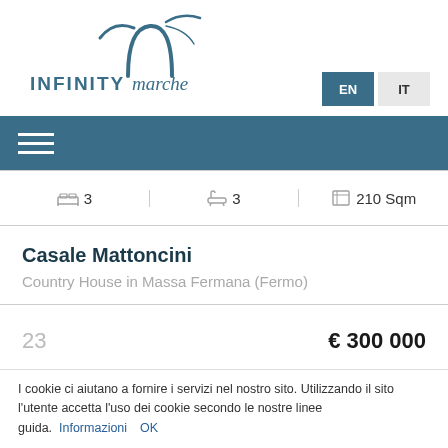[Figure (logo): INFINITYmarche logo with seagull graphic above text]
EN  IT
[Figure (other): Navigation hamburger menu icon (three horizontal lines) on teal background]
| Bedrooms | Bathrooms | Area |
| --- | --- | --- |
| 3 | 3 | 210 Sqm |
Casale Mattoncini
Country House in Massa Fermana (Fermo)
23  € 300 000
I cookie ci aiutano a fornire i servizi nel nostro sito. Utilizzando il sito l'utente accetta l'uso dei cookie secondo le nostre linee guida.  Informazioni  OK